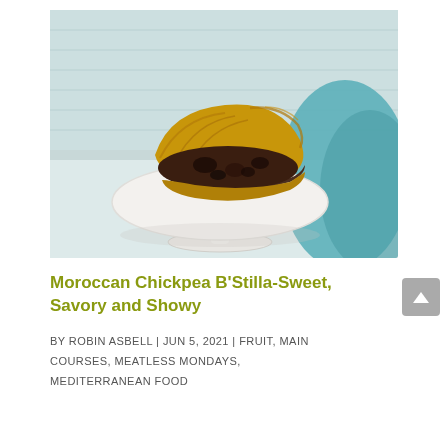[Figure (photo): A slice of Moroccan Chickpea B'Stilla pastry with flaky golden phyllo crust and dark filling, served on a white pedestal cake stand, with a teal/blue cloth in the background on a light blue-white surface.]
Moroccan Chickpea B'Stilla-Sweet, Savory and Showy
BY ROBIN ASBELL | JUN 5, 2021 | FRUIT, MAIN COURSES, MEATLESS MONDAYS, MEDITERRANEAN FOOD